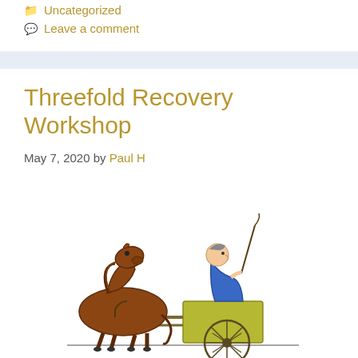Uncategorized
Leave a comment
Threefold Recovery Workshop
May 7, 2020 by Paul H
[Figure (illustration): Cartoon illustration of a tired-looking horse harnessed to a yellow/olive cart, with a person in a blue jacket sitting on the cart holding a whip or stick]